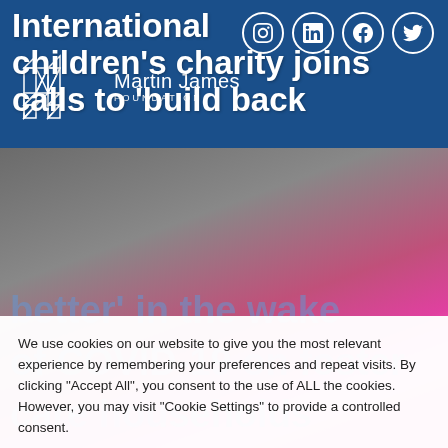Martin James Foundation
[Figure (logo): Martin James Foundation geometric M logo in white outline on blue background with social media icons (Instagram, LinkedIn, Facebook, Twitter)]
International children's charity joins calls to 'build back better' in the wake of COVID-19 on foster care households
We use cookies on our website to give you the most relevant experience by remembering your preferences and repeat visits. By clicking "Accept All", you consent to the use of ALL the cookies. However, you may visit "Cookie Settings" to provide a controlled consent.